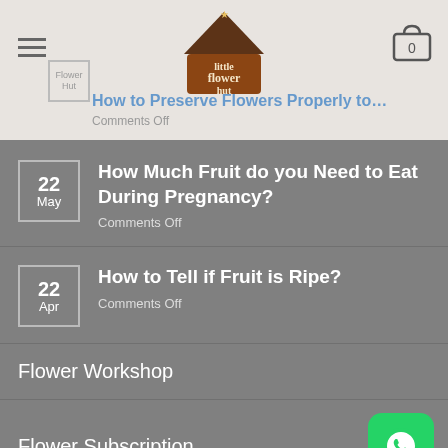Little Flower Hut — How to Preserve Flowers Properly to Keep them Fresh
22 May — How Much Fruit do you Need to Eat During Pregnancy? Comments Off
22 Apr — How to Tell if Fruit is Ripe? Comments Off
Flower Workshop
Flower Subscription
Weekly Flower For Office
Career
Collaboration